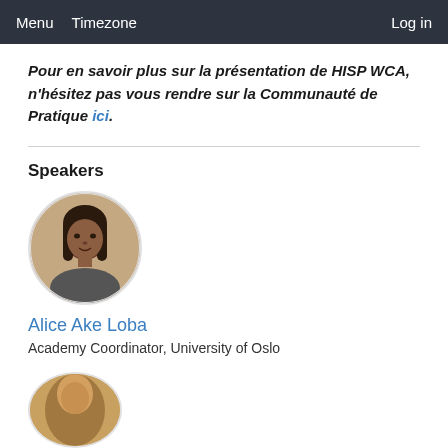Menu  Timezone  Log in
Pour en savoir plus sur la présentation de HISP WCA, n'hésitez pas vous rendre sur la Communauté de Pratique ici.
Speakers
[Figure (photo): Circular portrait photo of Alice Ake Loba]
Alice Ake Loba
Academy Coordinator, University of Oslo
[Figure (photo): Circular portrait photo of second speaker, partially visible at bottom]